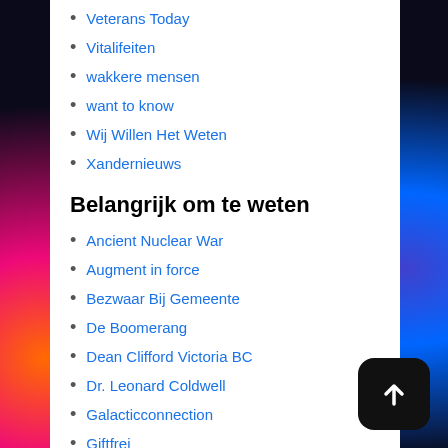Veterans Today
Vitalifeiten
wakkere mensen
want to know
Wij Willen Het Weten
Xandernieuws
Belangrijk om te weten
Ancient Nuclear War
Augment in force
Bezwaar Bij Gemeente
De Boomerang
Dean Clifford Victoria BC
Dr. Leonard Coldwell
Galacticconnection
Giftfrei
Heksenjacht op uitkeringsgerechtigden en hun rechte
independz wixsite antinano-set-up-pail
Indigo Revolution